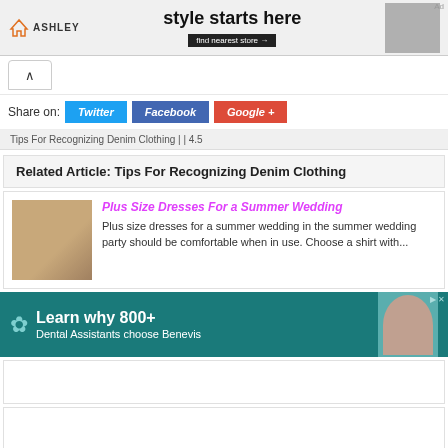[Figure (photo): Ashley Furniture ad banner: style starts here, find nearest store]
Share on: Twitter Facebook Google+
Tips For Recognizing Denim Clothing | | 4.5
Related Article: Tips For Recognizing Denim Clothing
Plus Size Dresses For a Summer Wedding
Plus size dresses for a summer wedding in the summer wedding party should be comfortable when in use. Choose a shirt with...
[Figure (photo): Benevis dental ad: Learn why 800+ Dental Assistants choose Benevis]